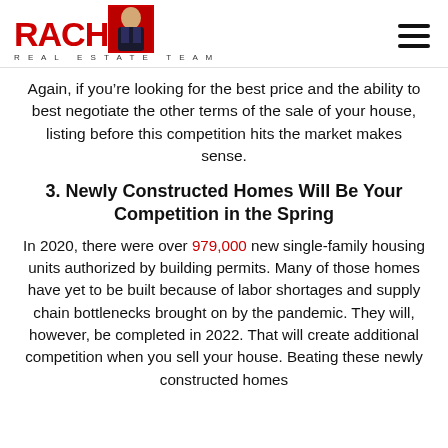RACHM REAL ESTATE TEAM
Again, if you’re looking for the best price and the ability to best negotiate the other terms of the sale of your house, listing before this competition hits the market makes sense.
3. Newly Constructed Homes Will Be Your Competition in the Spring
In 2020, there were over 979,000 new single-family housing units authorized by building permits. Many of those homes have yet to be built because of labor shortages and supply chain bottlenecks brought on by the pandemic. They will, however, be completed in 2022. That will create additional competition when you sell your house. Beating these newly constructed homes